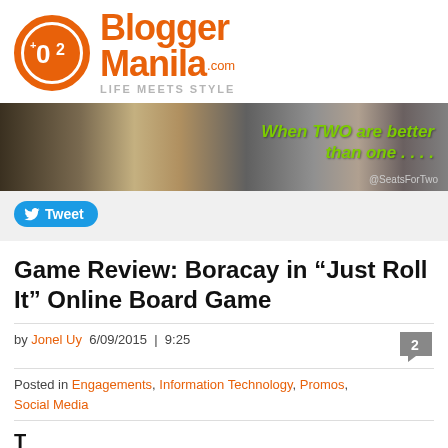[Figure (logo): BloggerManila.com logo with orange circle containing +O2 symbol and text 'BloggerManila.com LIFE MEETS STYLE']
[Figure (photo): Banner photo showing feet/shoes on a beach with green text 'When TWO are better than one....' and handle @SeatsForTwo]
[Figure (screenshot): Twitter Tweet button (blue rounded rectangle with bird icon and 'Tweet' text)]
Game Review: Boracay in "Just Roll It" Online Board Game
by Jonel Uy  6/09/2015 | 9:25
Posted in Engagements, Information Technology, Promos, Social Media